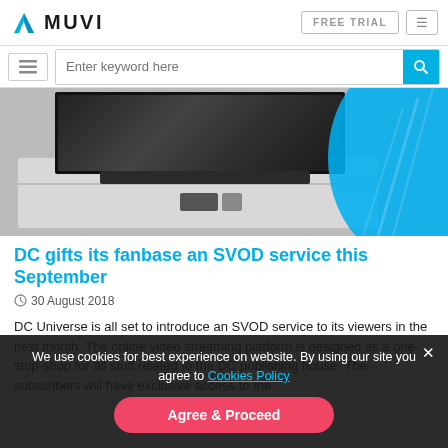MUVI — FREE TRIAL
[Figure (screenshot): Search bar with hamburger menu icon on left and cyan search button on right, placeholder text 'Enter keyword here']
[Figure (photo): Photo of a flat-screen TV on a white TV stand with soundbar, decorative blue circle graphic on right side]
DC gifts its fanbase an SVOD service this September
30 August 2018
DC Universe is all set to introduce an SVOD service to its viewers in the next month. The online video streaming platform is designed as a one-stop-shop for all stuff related to the DC publishing house. The subscribers will have exclusive access to the
We use cookies for best experience on website. By using our site you agree to Cookies Policy